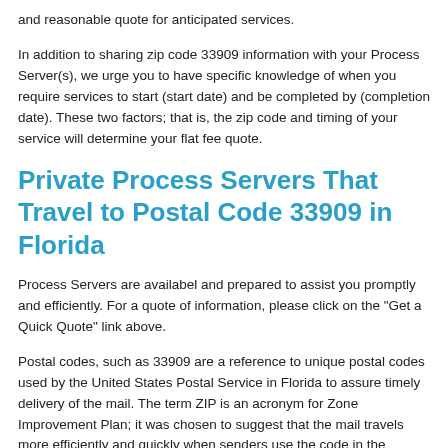and reasonable quote for anticipated services.
In addition to sharing zip code 33909 information with your Process Server(s), we urge you to have specific knowledge of when you require services to start (start date) and be completed by (completion date). These two factors; that is, the zip code and timing of your service will determine your flat fee quote.
Private Process Servers That Travel to Postal Code 33909 in Florida
Process Servers are availabel and prepared to assist you promptly and efficiently. For a quote of information, please click on the "Get a Quick Quote" link above.
Postal codes, such as 33909 are a reference to unique postal codes used by the United States Postal Service in Florida to assure timely delivery of the mail. The term ZIP is an acronym for Zone Improvement Plan; it was chosen to suggest that the mail travels more efficiently and quickly when senders use the code in the